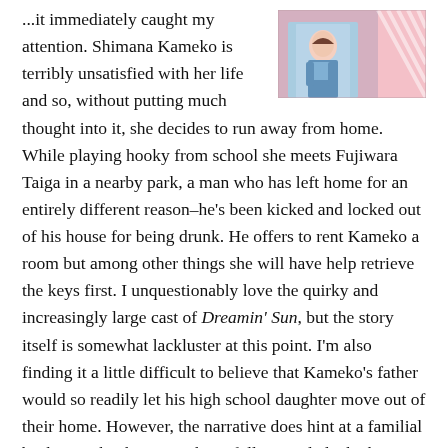[Figure (illustration): Manga book cover thumbnail showing a character in a blue outfit with pink/striped background design]
...it immediately caught my attention. Shimana Kameko is terribly unsatisfied with her life and so, without putting much thought into it, she decides to run away from home. While playing hooky from school she meets Fujiwara Taiga in a nearby park, a man who has left home for an entirely different reason–he's been kicked and locked out of his house for being drunk. He offers to rent Kameko a room but among other things she will have help retrieve the keys first. I unquestionably love the quirky and increasingly large cast of Dreamin' Sun, but the story itself is somewhat lackluster at this point. I'm also finding it a little difficult to believe that Kameko's father would so readily let his high school daughter move out of their home. However, the narrative does hint at a familial backstory that hasn't yet been fully revealed which may go far to help explain his decision. While Dreamin' Sun isn't nearly as compelling as Orange, I certainly wouldn't mind reading more of the series. The first volume was goofy and a little ridiculous, but not at all in a bad way.